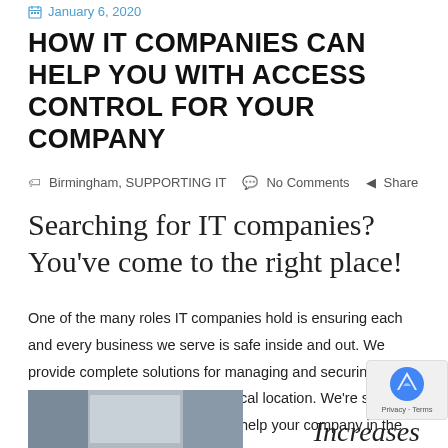January 6, 2020
HOW IT COMPANIES CAN HELP YOU WITH ACCESS CONTROL FOR YOUR COMPANY
Birmingham, SUPPORTING IT   No Comments   Share
Searching for IT companies? You've come to the right place!
One of the many roles IT companies hold is ensuring each and every business we serve is safe inside and out. We provide complete solutions for managing and securing your IT, as well as securing your physical location. We're sharing how access control systems can help your company in the future.
[Figure (photo): Partial photo of an interior space visible at bottom left]
Increases